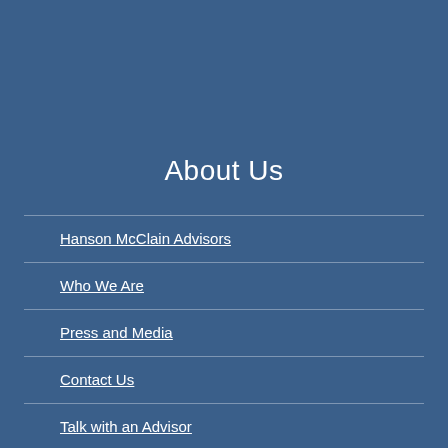About Us
Hanson McClain Advisors
Who We Are
Press and Media
Contact Us
Talk with an Advisor
888-2-HANSON
[Figure (logo): Partial logo visible at bottom center of page]